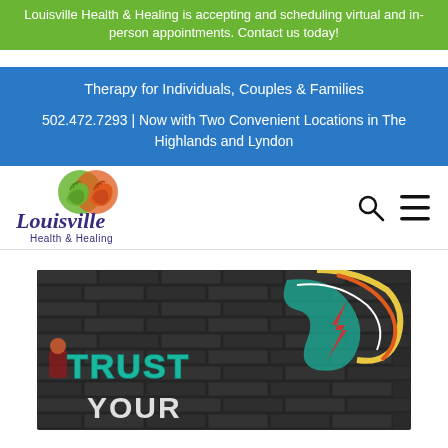Louisville Health & Healing is accepting and scheduling virtual and in-person appointments. Contact us today!
Therapy for Individuals, Couples & Families
502.472.7293 | Now with Two Convenient Locations in The Highlands and Lyndon
[Figure (logo): Louisville Health & Healing logo with two hands (green and orange) forming a circle, with cursive 'Louisville' text and 'Health & Healing' below in purple]
[Figure (photo): Graffiti on a dark brick wall with teal letters spelling 'TRUST YOUR' and colorful graffiti art in the background]